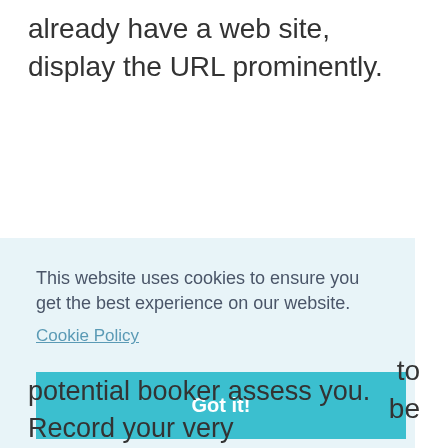already have a web site, display the URL prominently.
[Figure (screenshot): Cookie consent banner with light blue background showing: 'This website uses cookies to ensure you get the best experience on our website.' with a Cookie Policy link and a teal 'Got it!' button]
potential booker assess you. Record your very